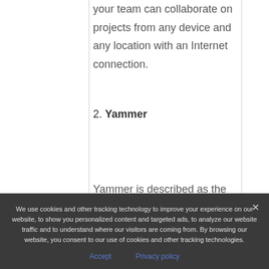your team can collaborate on projects from any device and any location with an Internet connection.
2. Yammer
Yammer is described as the
We use cookies and other tracking technology to improve your experience on our website, to show you personalized content and targeted ads, to analyze our website traffic and to understand where our visitors are coming from. By browsing our website, you consent to our use of cookies and other tracking technologies.
Accept
Privacy policy